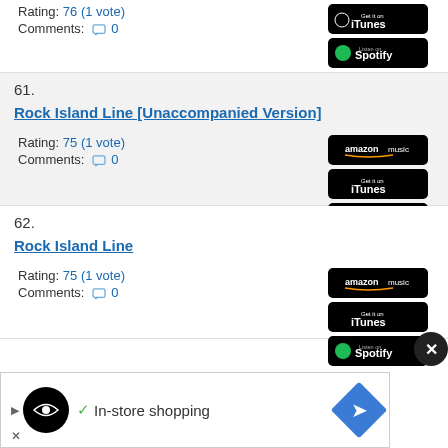Rating: 76 (1 vote)
Comments: 0
61.
Rock Island Line [Unaccompanied Version]
Rating: 75 (1 vote)
Comments: 0
62.
Rock Island Line
Rating: 75 (1 vote)
Comments: 0
[Figure (infographic): Advertisement banner: In-store shopping with logo and navigation icon]